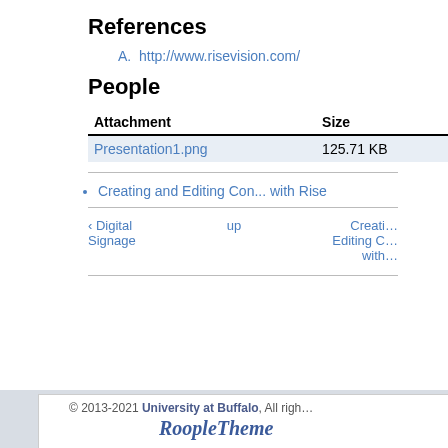References
A. http://www.risevision.com/
People
| Attachment | Size |
| --- | --- |
| Presentation1.png | 125.71 KB |
Creating and Editing Content with Rise
‹ Digital Signage   up   Creating and Editing Content with Rise
© 2013-2021 University at Buffalo, All rights reserved.